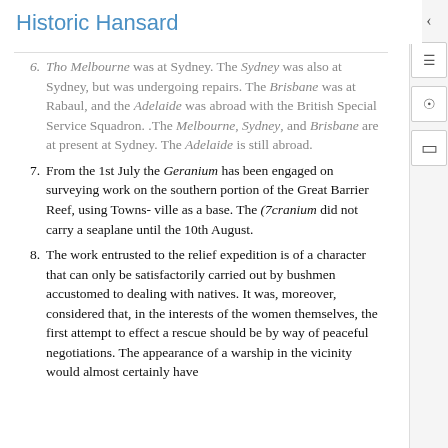Historic Hansard
6. Tho Melbourne was at Sydney. The Sydney was also at Sydney, but was undergoing repairs. The Brisbane was at Rabaul, and the Adelaide was abroad with the British Special Service Squadron. .The Melbourne, Sydney, and Brisbane are at present at Sydney. The Adelaide is still abroad.
7. From the 1st July the Geranium has been engaged on surveying work on the southern portion of the Great Barrier Reef, using Towns- ville as a base. The (7cranium did not carry a seaplane until the 10th August.
8. The work entrusted to the relief expedition is of a character that can only be satisfactorily carried out by bushmen accustomed to dealing with natives. It was, moreover, considered that, in the interests of the women themselves, the first attempt to effect a rescue should be by way of peaceful negotiations. The appearance of a warship in the vicinity would almost certainly have